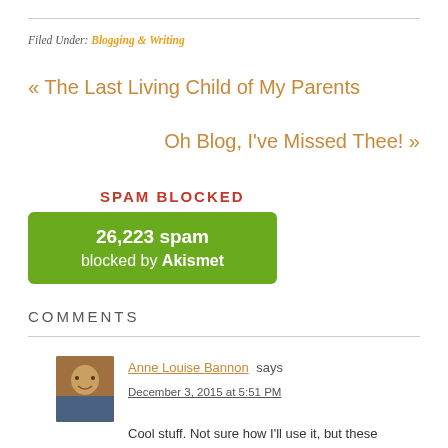Filed Under: Blogging & Writing
« The Last Living Child of My Parents
Oh Blog, I've Missed Thee! »
SPAM BLOCKED
[Figure (infographic): Green rounded box showing '26,223 spam blocked by Akismet']
COMMENTS
Anne Louise Bannon says
December 3, 2015 at 5:51 PM
Cool stuff. Not sure how I'll use it, but these